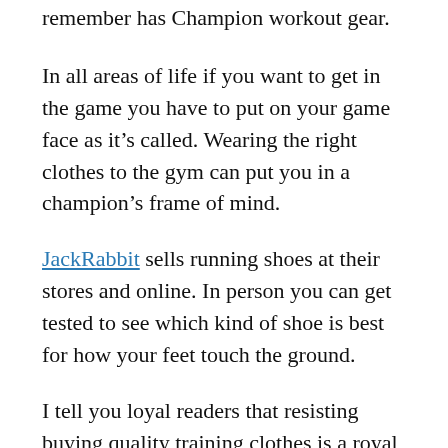remember has Champion workout gear.
In all areas of life if you want to get in the game you have to put on your game face as it’s called. Wearing the right clothes to the gym can put you in a champion’s frame of mind.
JackRabbit sells running shoes at their stores and online. In person you can get tested to see which kind of shoe is best for how your feet touch the ground.
I tell you loyal readers that resisting buying quality training clothes is a royal mistake. You’ll feel better about yourself when you’re dressed better.